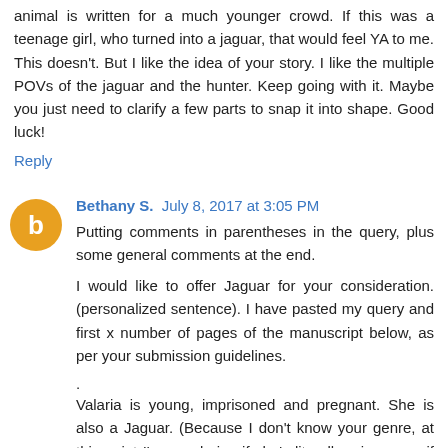animal is written for a much younger crowd. If this was a teenage girl, who turned into a jaguar, that would feel YA to me. This doesn't. But I like the idea of your story. I like the multiple POVs of the jaguar and the hunter. Keep going with it. Maybe you just need to clarify a few parts to snap it into shape. Good luck!
Reply
Bethany S.  July 8, 2017 at 3:05 PM
Putting comments in parentheses in the query, plus some general comments at the end.
I would like to offer Jaguar for your consideration. (personalized sentence). I have pasted my query and first x number of pages of the manuscript below, as per your submission guidelines.
.
Valaria is young, imprisoned and pregnant. She is also a Jaguar. (Because I don't know your genre, at this point I'm wondering if she's literally a jaguar or if this is a